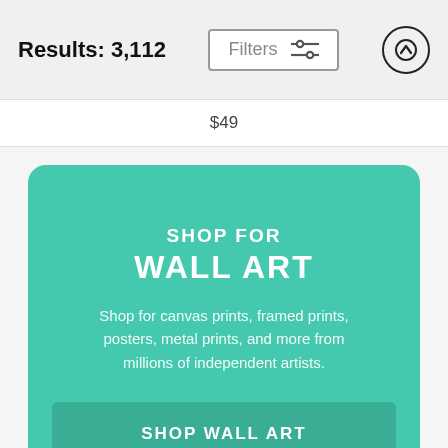Results: 3,112
$49
[Figure (screenshot): Promotional banner with teal background: SHOP FOR WALL ART heading, descriptive text, and SHOP WALL ART button]